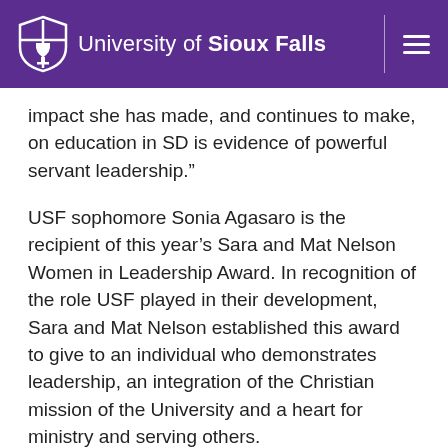University of Sioux Falls
impact she has made, and continues to make, on education in SD is evidence of powerful servant leadership.”
USF sophomore Sonia Agasaro is the recipient of this year’s Sara and Mat Nelson Women in Leadership Award. In recognition of the role USF played in their development, Sara and Mat Nelson established this award to give to an individual who demonstrates leadership, an integration of the Christian mission of the University and a heart for ministry and serving others.
Sonia has exemplified a passion for leadership, a heart for service, and integrates the Christian mission throughout her work as the Culture Club President,